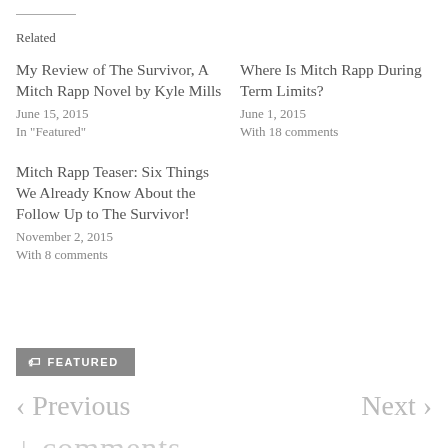Related
My Review of The Survivor, A Mitch Rapp Novel by Kyle Mills
June 15, 2015
In "Featured"
Where Is Mitch Rapp During Term Limits?
June 1, 2015
With 18 comments
Mitch Rapp Teaser: Six Things We Already Know About the Follow Up to The Survivor!
November 2, 2015
With 8 comments
FEATURED
< Previous    Next >
comments